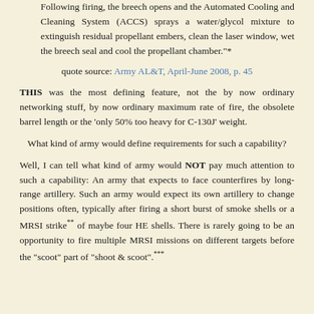Following firing, the breech opens and the Automated Cooling and Cleaning System (ACCS) sprays a water/glycol mixture to extinguish residual propellant embers, clean the laser window, wet the breech seal and cool the propellant chamber."*
quote source: Army AL&T, April-June 2008, p. 45
THIS was the most defining feature, not the by now ordinary networking stuff, by now ordinary maximum rate of fire, the obsolete barrel length or the 'only 50% too heavy for C-130J' weight.
What kind of army would define requirements for such a capability?
Well, I can tell what kind of army would NOT pay much attention to such a capability: An army that expects to face counterfires by long-range artillery. Such an army would expect its own artillery to change positions often, typically after firing a short burst of smoke shells or a MRSI strike** of maybe four HE shells. There is rarely going to be an opportunity to fire multiple MRSI missions on different targets before the "scoot" part of "shoot & scoot".***